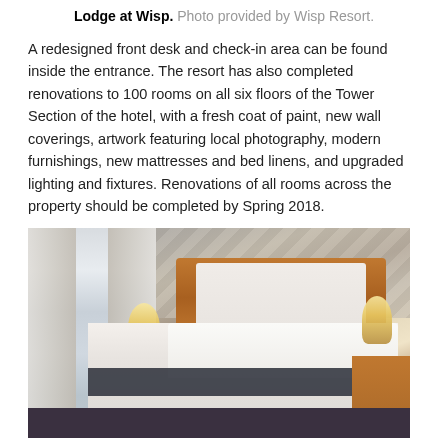Lodge at Wisp. Photo provided by Wisp Resort.
A redesigned front desk and check-in area can be found inside the entrance. The resort has also completed renovations to 100 rooms on all six floors of the Tower Section of the hotel, with a fresh coat of paint, new wall coverings, artwork featuring local photography, modern furnishings, new mattresses and bed linens, and upgraded lighting and fixtures. Renovations of all rooms across the property should be completed by Spring 2018.
[Figure (photo): Hotel room interior showing a neatly made bed with white linens and dark runner, wooden headboard, two bedside lamps, patterned wallpaper accent wall, and window with white curtains on the left.]